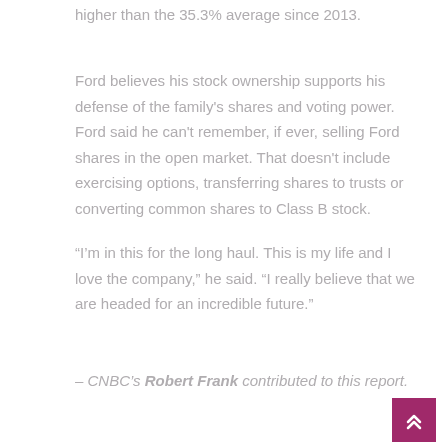higher than the 35.3% average since 2013.
Ford believes his stock ownership supports his defense of the family's shares and voting power. Ford said he can't remember, if ever, selling Ford shares in the open market. That doesn't include exercising options, transferring shares to trusts or converting common shares to Class B stock.
“I’m in this for the long haul. This is my life and I love the company,” he said. “I really believe that we are headed for an incredible future.”
– CNBC’s Robert Frank contributed to this report.